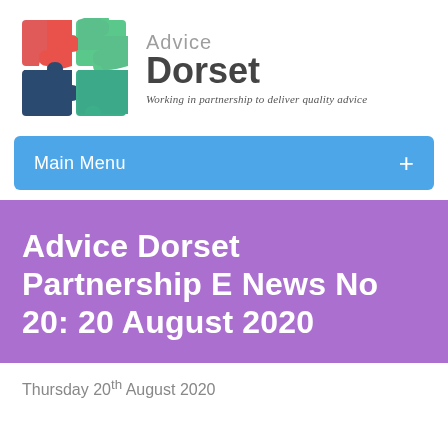[Figure (logo): Advice Dorset logo: four puzzle pieces in red, green, dark blue, and light green/teal arranged in a 2x2 grid, next to text 'Advice Dorset' with tagline 'Working in partnership to deliver quality advice']
Main Menu +
Advice Dorset Partnership E News No 20: 20 August 2020
Thursday 20th August 2020